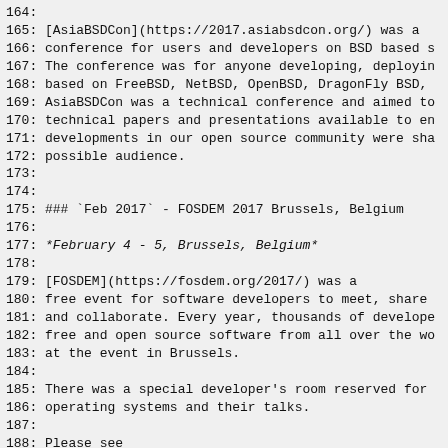164:
165: [AsiaBSDCon](https://2017.asiabsdcon.org/) was a
166: conference for users and developers on BSD based s
167: The conference was for anyone developing, deployin
168: based on FreeBSD, NetBSD, OpenBSD, DragonFly BSD,
169: AsiaBSDCon was a technical conference and aimed to
170: technical papers and presentations available to en
171: developments in our open source community were sha
172: possible audience.
173:
174:
175: ### `Feb 2017` - FOSDEM 2017 Brussels, Belgium
176:
177: *February 4 - 5, Brussels, Belgium*
178:
179: [FOSDEM](https://fosdem.org/2017/) was a
180: free event for software developers to meet, share
181: and collaborate. Every year, thousands of develope
182: free and open source software from all over the wo
183: at the event in Brussels.
184:
185: There was a special developer's room reserved for
186: operating systems and their talks.
187:
188: Please see
189: [this announcement](http://mail-index.netbsd.org/m
190: for details.
191:
192:
193: ### `Sep 2016` - EuroBSDCon 2016 Belgrade, Serbia
194: